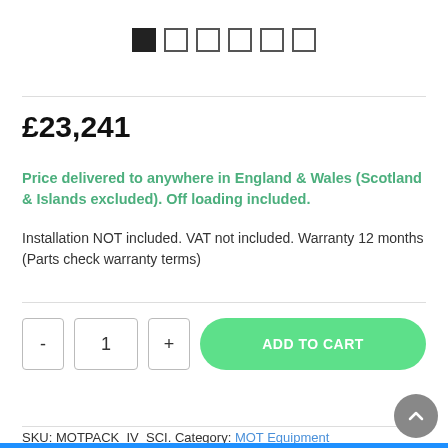[Figure (other): Image thumbnail navigation: one filled black square followed by five empty squares in a row]
£23,241
Price delivered to anywhere in England & Wales (Scotland & Islands excluded). Off loading included.
Installation NOT included. VAT not included. Warranty 12 months (Parts check warranty terms)
- 1 + ADD TO CART
SKU: MOTPACK_IV_SCI. Category: MOT Equipment